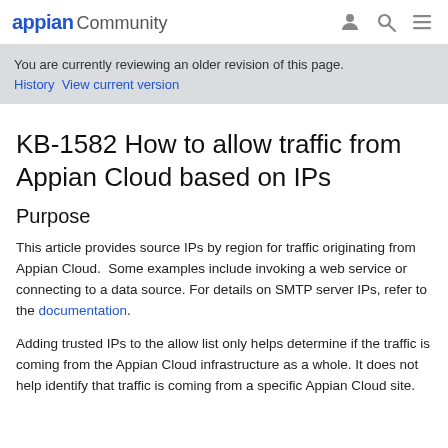appian Community
You are currently reviewing an older revision of this page. History  View current version
KB-1582 How to allow traffic from Appian Cloud based on IPs
Purpose
This article provides source IPs by region for traffic originating from Appian Cloud.  Some examples include invoking a web service or connecting to a data source. For details on SMTP server IPs, refer to the documentation.
Adding trusted IPs to the allow list only helps determine if the traffic is coming from the Appian Cloud infrastructure as a whole. It does not help identify that traffic is coming from a specific Appian Cloud site.